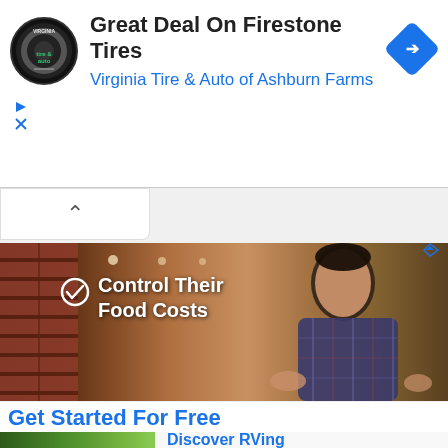[Figure (screenshot): Advertisement banner for Virginia Tire & Auto of Ashburn Farms with circular logo on left, title text 'Great Deal On Firestone Tires', subtitle 'Virginia Tire & Auto of Ashburn Farms', and a blue diamond navigation icon on the right]
Great Deal On Firestone Tires
Virginia Tire & Auto of Ashburn Farms
[Figure (screenshot): Video thumbnail showing a man in a plaid shirt speaking with text overlay 'Control Their Food Costs' with a checkmark circle icon, and a dark brick wall on the left background]
Get Started For Free
Ad  Get Orderly
Discover RVing